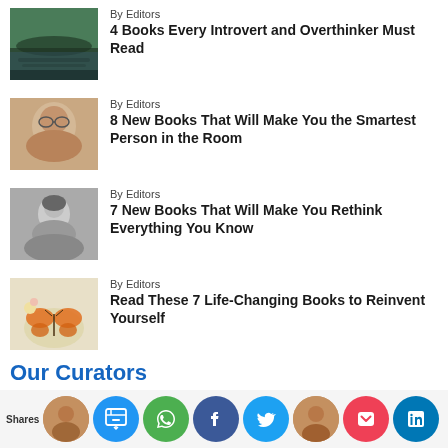By Editors
4 Books Every Introvert and Overthinker Must Read
By Editors
8 New Books That Will Make You the Smartest Person in the Room
By Editors
7 New Books That Will Make You Rethink Everything You Know
By Editors
Read These 7 Life-Changing Books to Reinvent Yourself
Our Curators
[Figure (infographic): Footer bar with Shares label and social media share icons: SITO/custom app (blue), WhatsApp (green), Facebook (dark blue), Twitter (light blue), Pocket (red), LinkedIn (blue), and a person avatar circle]